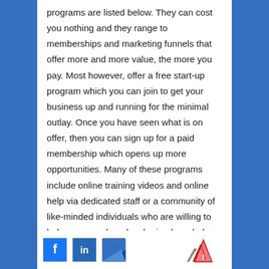programs are listed below. They can cost you nothing and they range to memberships and marketing funnels that offer more and more value, the more you pay. Most however, offer a free start-up program which you can join to get your business up and running for the minimal outlay. Once you have seen what is on offer, then you can sign up for a paid membership which opens up more opportunities. Many of these programs include online training videos and online help via dedicated staff or a community of like-minded individuals who are willing to help new members by sharing knowledge.
[Figure (logo): Social media and platform icons at the bottom: Facebook (blue square), LinkedIn (blue square), another blue logo, and a red/white warning triangle icon]